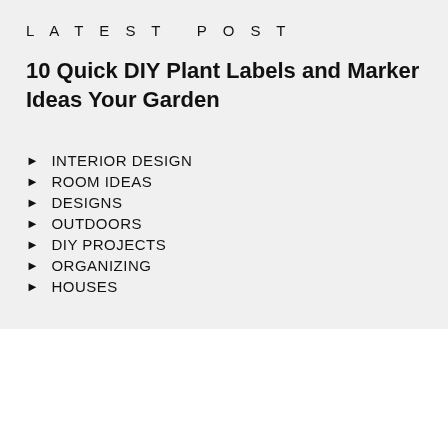LATEST POST
10 Quick DIY Plant Labels and Marker Ideas Your Garden
INTERIOR DESIGN
ROOM IDEAS
DESIGNS
OUTDOORS
DIY PROJECTS
ORGANIZING
HOUSES